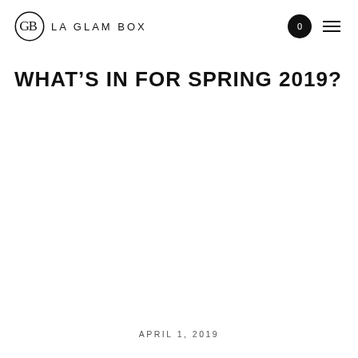LA GLAM BOX
WHAT'S IN FOR SPRING 2019?
APRIL 1, 2019